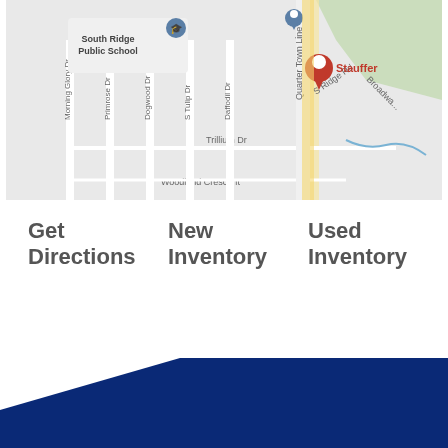[Figure (map): Google Maps screenshot showing South Ridge Public School area with street names including Morning Glory Dr, Primrose Dr, Dogwood Dr, S Tulip Dr, Daffodil Dr, Quarter Town Line, S Ridge Rd, Trillium Dr, Woodland Crescent, Broadway, and a red location pin labeled Stauffer]
Get Directions
New Inventory
Used Inventory